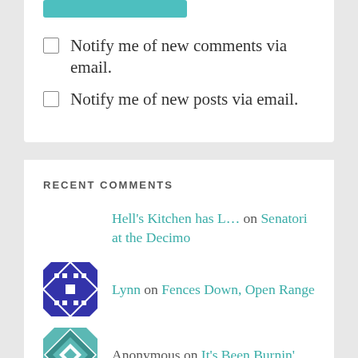[Figure (other): Teal submit button (partial, cropped at top)]
Notify me of new comments via email.
Notify me of new posts via email.
RECENT COMMENTS
Hell's Kitchen has L… on Senatori at the Decimo
Lynn on Fences Down, Open Range
Anonymous on It's Been Burnin'…
Lynn on It's Been Burnin'…
Bob Maxwell on It's Been Burnin'…